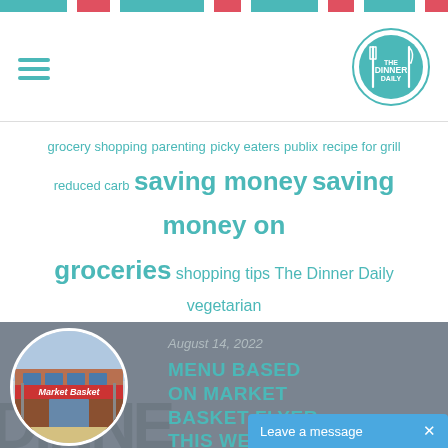[Figure (infographic): Colorful top bar with alternating teal and pink/red segments]
[Figure (logo): Dinner Daily logo circle with fork and knife icons in teal]
grocery shopping  parenting  picky eaters  publix  recipe for grill  reduced carb  saving money  saving money on groceries  shopping tips  The Dinner Daily  vegetarian  vegetarian dinner idea
August 14, 2022
[Figure (photo): Circular photo of Market Basket storefront]
MENU BASED ON MARKET BASKET FLYER THIS WEEK: AUGUST 14TH TO...